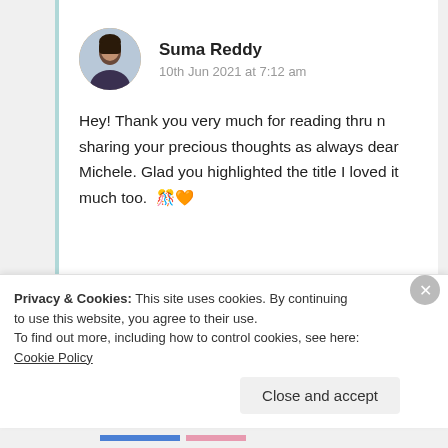[Figure (photo): Circular avatar photo of Suma Reddy]
Suma Reddy
10th Jun 2021 at 7:12 am
Hey! Thank you very much for reading thru n sharing your precious thoughts as always dear Michele. Glad you highlighted the title I loved it much too. 🎊🧡
Privacy & Cookies: This site uses cookies. By continuing to use this website, you agree to their use.
To find out more, including how to control cookies, see here: Cookie Policy
Close and accept